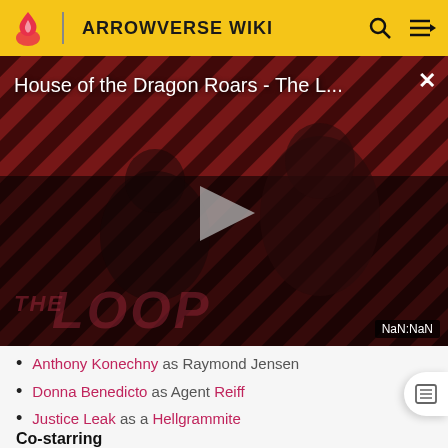ARROWVERSE WIKI
[Figure (screenshot): Video thumbnail for 'House of the Dragon Roars - The L...' with a dark reddish striped background, a play button in the center, a silhouette of a person, and 'THE LOOP' text. Shows NaN:NaN timestamp.]
Anthony Konechny as Raymond Jensen
Donna Benedicto as Agent Reiff
Justice Leak as a Hellgrammite
Co-starring
Nick Hunnings as Kopy